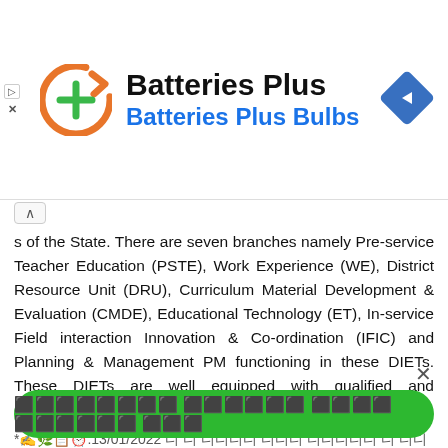[Figure (logo): Batteries Plus logo with orange circular arrow icon and green plus sign, with blue navigation arrow icon on the right]
Batteries Plus
Batteries Plus Bulbs
s of the State. There are seven branches namely Pre-service Teacher Education (PSTE), Work Experience (WE), District Resource Unit (DRU), Curriculum Material Development & Evaluation (CMDE), Educational Technology (ET), In-service Field interaction Innovation & Co-ordination (IFIC) and Planning & Management PM functioning in these DIETs. These DIETs are well equipped with qualified and experienced academic and administrative staff.
*✍️🌿📋⏰:13/01/2022 ⬛⬛⬛ ⬛⬛⬛ ⬛⬛⬛⬛⬛⬛ ⬛⬛⬛⬛⬛⬛ ⬛⬛⬛⬛⬛⬛⬛ ⬛⬛ ⬛⬛⬛⬛⬛⬛⬛⬛. 👇*
⬛⬛⬛⬛⬛⬛⬛⬛ ⬛⬛⬛⬛⬛⬛ ⬛⬛⬛⬛ ⬛⬛⬛⬛⬛⬛ ⬛⬛⬛